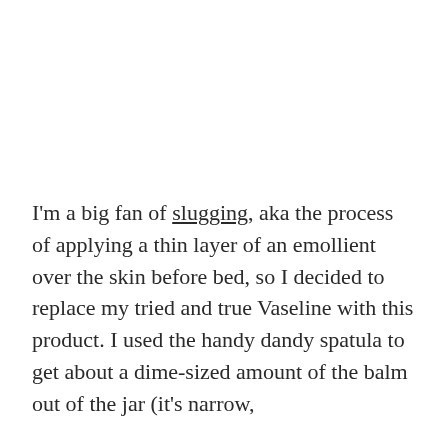I'm a big fan of slugging, aka the process of applying a thin layer of an emollient over the skin before bed, so I decided to replace my tried and true Vaseline with this product. I used the handy dandy spatula to get about a dime-sized amount of the balm out of the jar (it's narrow,